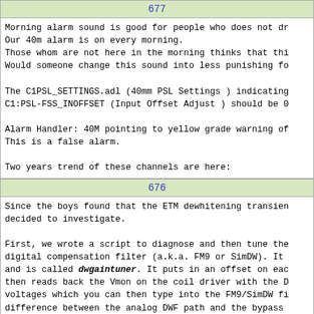677
Morning alarm sound is good for people who does not dr
Our 40m alarm is on every morning.
Those whom are not here in the morning thinks that thi
Would someone change this sound into less punishing fo

The C1PSL_SETTINGS.adl (40mm PSL Settings ) indicating
C1:PSL-FSS_INOFFSET (Input Offset Adjust ) should be 0

Alarm Handler: 40M pointing to yellow grade warning of
This is a false alarm.

Two years trend of these channels are here:
676
Since the boys found that the ETM dewhitening transien
decided to investigate.

First, we wrote a script to diagnose and then tune the
digital compensation filter (a.k.a. FM9 or SimDW). It
and is called dwgaintuner. It puts in an offset on eac
then reads back the Vmon on the coil driver with the D
voltages which you can then type into the FM9/SimDW fi
difference between the analog DWF path and the bypass
what you expect from the use of 1% resistors). We need
the suspended optics except for MC1 and MC3.